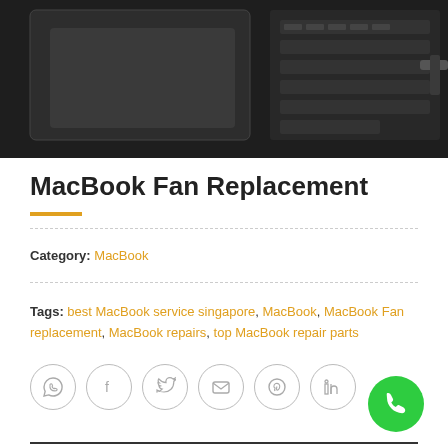[Figure (photo): Close-up photo of a dark laptop keyboard and trackpad from above, showing black keys and a grey trackpad area with a cable visible at the right edge.]
MacBook Fan Replacement
Category: MacBook
Tags: best MacBook service singapore, MacBook, MacBook Fan replacement, MacBook repairs, top MacBook repair parts
[Figure (other): Social sharing icons: WhatsApp, Facebook, Twitter, Email, Pinterest, LinkedIn — circular grey outline buttons]
DESCRIPTION
REVIEWS (0)